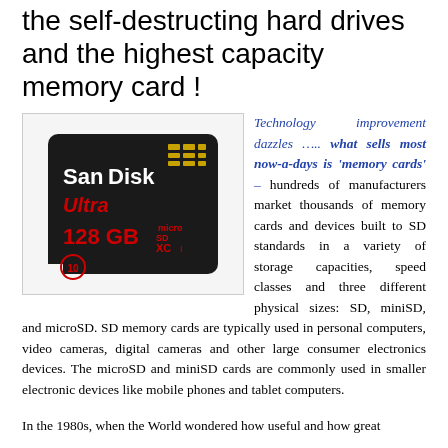the self-destructing hard drives and the highest capacity memory card !
[Figure (photo): SanDisk Ultra 128GB microSD XC I memory card product photo on white background]
Technology improvement dazzles ….. what sells most now-a-days is 'memory cards' - hundreds of manufacturers market thousands of memory cards and devices built to SD standards in a variety of storage capacities, speed classes and three different physical sizes: SD, miniSD, and microSD. SD memory cards are typically used in personal computers, video cameras, digital cameras and other large consumer electronics devices. The microSD and miniSD cards are commonly used in smaller electronic devices like mobile phones and tablet computers.
In the 1980s, when the World wondered how useful and how great